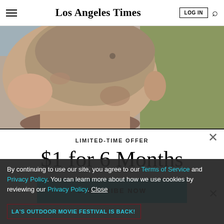Los Angeles Times — LOG IN [search]
[Figure (photo): Close-up side profile photo of a bald or shaved-head person's face and head, looking downward, against a greenish background]
LIMITED-TIME OFFER
$1 for 6 Months
SUBSCRIBE NOW
By continuing to use our site, you agree to our Terms of Service and Privacy Policy. You can learn more about how we use cookies by reviewing our Privacy Policy. Close
LA'S OUTDOOR MOVIE FESTIVAL IS BACK!